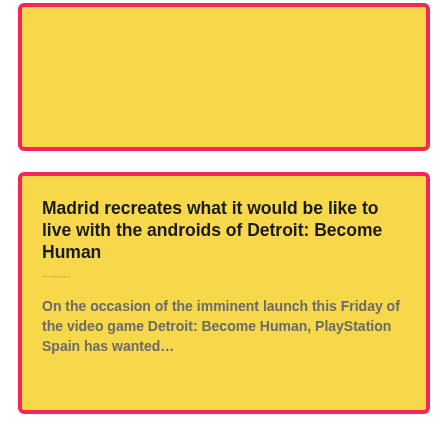[Figure (other): Yellow card with pink/red border, top card with no visible content]
Madrid recreates what it would be like to live with the androids of Detroit: Become Human
On the occasion of the imminent launch this Friday of the video game Detroit: Become Human, PlayStation Spain has wanted…